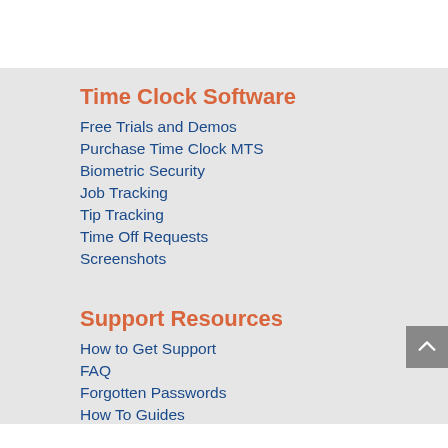Time Clock Software
Free Trials and Demos
Purchase Time Clock MTS
Biometric Security
Job Tracking
Tip Tracking
Time Off Requests
Screenshots
Support Resources
How to Get Support
FAQ
Forgotten Passwords
How To Guides